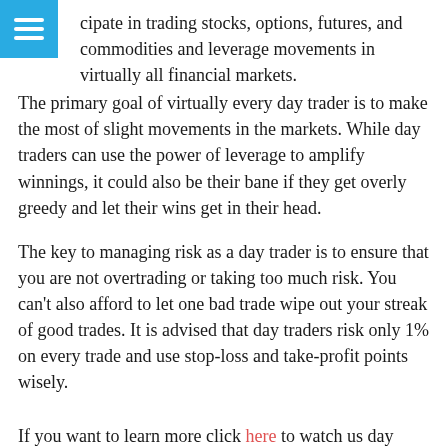cipate in trading stocks, options, futures, and commodities and leverage movements in virtually all financial markets.
The primary goal of virtually every day trader is to make the most of slight movements in the markets. While day traders can use the power of leverage to amplify winnings, it could also be their bane if they get overly greedy and let their wins get in their head.
The key to managing risk as a day trader is to ensure that you are not overtrading or taking too much risk. You can't also afford to let one bad trade wipe out your streak of good trades. It is advised that day traders risk only 1% on every trade and use stop-loss and take-profit points wisely.
If you want to learn more click here to watch us day trade live.